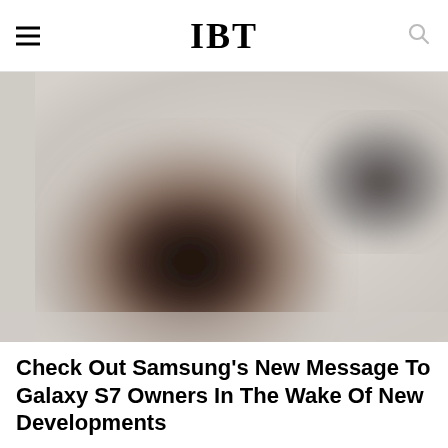IBT
[Figure (photo): Blurred close-up photo showing dark circular burn mark or damage on a light surface, with another dark blurred shape in the upper right corner]
Check Out Samsung's New Message To Galaxy S7 Owners In The Wake Of New Developments
Samsung has something to say to Galaxy S7 users, in the wake of recent Galaxy Note 7 bursts.
Oct 13, 2016